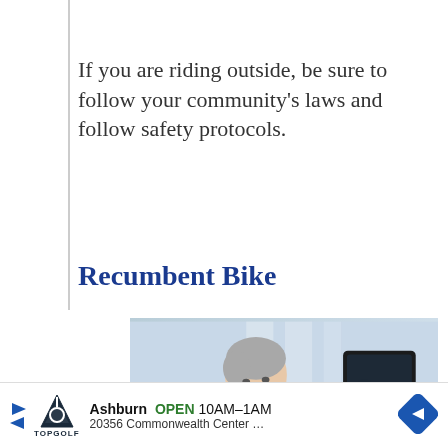If you are riding outside, be sure to follow your community's laws and follow safety protocols.
Recumbent Bike
[Figure (photo): An older man with grey hair wearing a light blue shirt, smiling while using a recumbent exercise bike in a gym setting with large windows in the background. A video player overlay reads 'No compatible source was found for this media.']